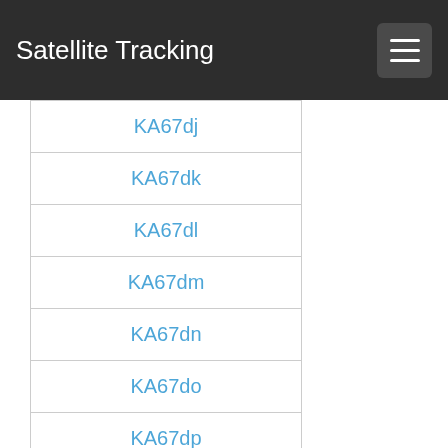Satellite Tracking
KA67dj
KA67dk
KA67dl
KA67dm
KA67dn
KA67do
KA67dp
KA67dq
KA67dr
KA67ds
KA67dt
KA67du
KA67dv
KA67dw
KA67dx
KA67ea
KA67eb
KA67ec